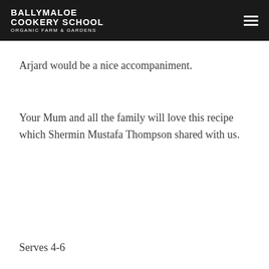BALLYMALOE COOKERY SCHOOL ORGANIC FARM & GARDENS
Arjard would be a nice accompaniment.
Your Mum and all the family will love this recipe which Shermin Mustafa Thompson shared with us.
Serves 4-6